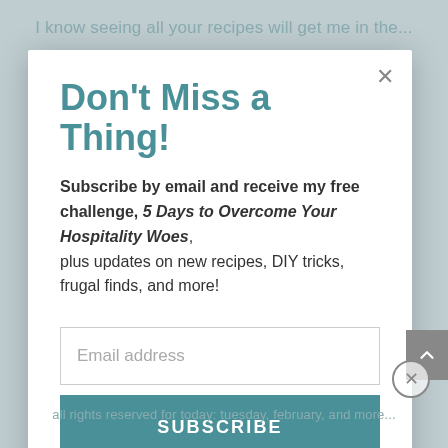I know seeing all your recipes will get me in the...
Don't Miss a Thing!
Subscribe by email and receive my free challenge, 5 Days to Overcome Your Hospitality Woes, plus updates on new recipes, DIY tricks, frugal finds, and more!
Email address
SUBSCRIBE
all rights reserved for today: tuesday, february, and more...